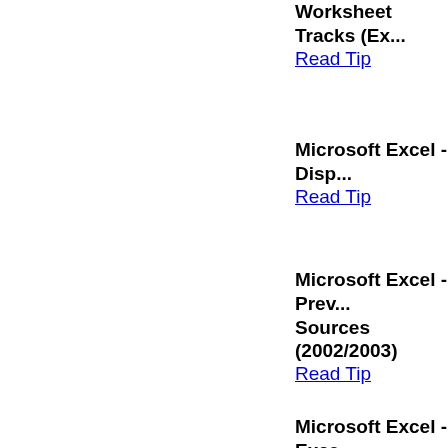Worksheet Tracks (Ex...
Read Tip
Microsoft Excel - Disp...
Read Tip
Microsoft Excel - Prev... Sources (2002/2003)
Read Tip
Microsoft Excel - Exce...
Read Tip
Microsoft Excel - Find... Validation (Excel 97/2...
Read Tip
Microsoft Excel - Hide... 97/2000/2001/2002)
Read Tip
Microsoft Excel - Add...